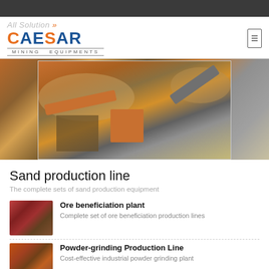[Figure (logo): Caesar Mining Equipments logo with 'All Solution>>' text above]
[Figure (photo): Aerial/overhead view of a sand production line with orange conveyor belts, crushers, and gravel piles at a mining site]
Sand production line
The complete sets of sand production equipment
[Figure (photo): Thumbnail photo of ore beneficiation plant with red cylindrical machines]
Ore beneficiation plant
Complete set of ore beneficiation production lines
[Figure (photo): Thumbnail photo of powder-grinding production line facility]
Powder-grinding Production Line
Cost-effective industrial powder grinding plant